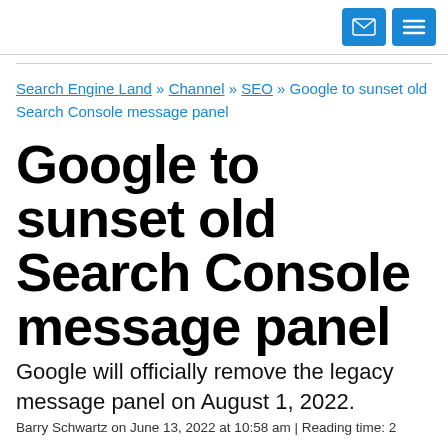[email icon] [menu icon]
Search Engine Land » Channel » SEO » Google to sunset old Search Console message panel
Google to sunset old Search Console message panel
Google will officially remove the legacy message panel on August 1, 2022.
Barry Schwartz on June 13, 2022 at 10:58 am | Reading time: 2